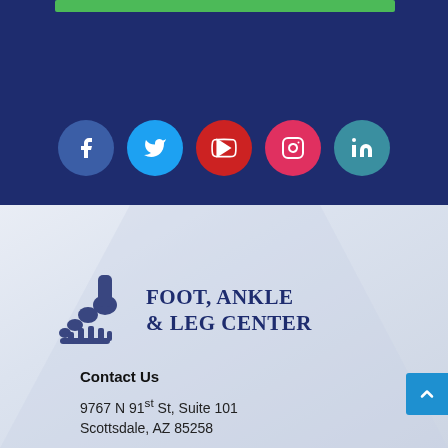[Figure (illustration): Social media icons row: Facebook (dark blue circle), Twitter (light blue circle), YouTube (red circle), Instagram (pink-red circle), LinkedIn (teal circle), on a dark navy background with a green bar at top]
[Figure (logo): Foot, Ankle & Leg Center logo with foot/ankle bone illustration on left and bold serif text on right]
Contact Us
9767 N 91st St, Suite 101
Scottsdale, AZ 85258